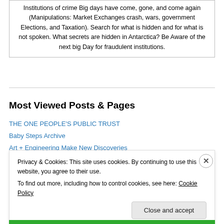Institutions of crime Big days have come, gone, and come again (Manipulations: Market Exchanges crash, wars, government Elections, and Taxation). Search for what is hidden and for what is not spoken. What secrets are hidden in Antarctica? Be Aware of the next big Day for fraudulent institutions.
Most Viewed Posts & Pages
THE ONE PEOPLE'S PUBLIC TRUST
Baby Steps Archive
Art + Engineering Make New Discoveries
Privacy & Cookies: This site uses cookies. By continuing to use this website, you agree to their use.
To find out more, including how to control cookies, see here: Cookie Policy
Close and accept